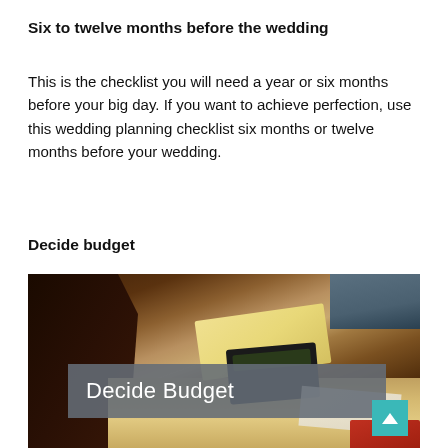Six to twelve months before the wedding
This is the checklist you will need a year or six months before your big day. If you want to achieve perfection, use this wedding planning checklist six months or twelve months before your wedding.
Decide budget
[Figure (photo): A woman sitting at a desk holding a yellow envelope, with a calculator, binder, papers, and a red keyboard on the desk. A gray semi-transparent banner overlay reads 'Decide Budget' with a teal arrow button in the bottom right corner.]